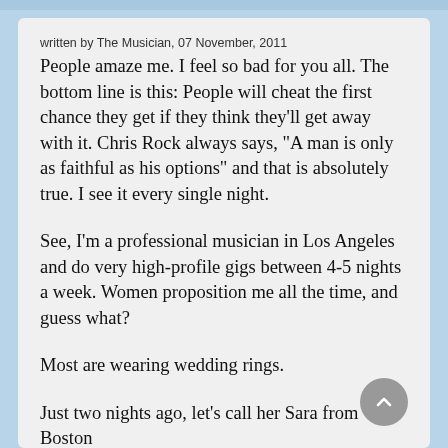written by The Musician, 07 November, 2011
People amaze me. I feel so bad for you all. The bottom line is this: People will cheat the first chance they get if they think they'll get away with it. Chris Rock always says, "A man is only as faithful as his options" and that is absolutely true. I see it every single night.
See, I'm a professional musician in Los Angeles and do very high-profile gigs between 4-5 nights a week. Women proposition me all the time, and guess what?
Most are wearing wedding rings.
Just two nights ago, let's call her Sara from Boston